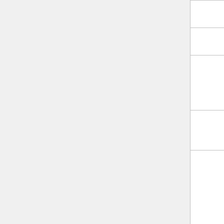| Device | Version | Notes |
| --- | --- | --- |
| Quectel UC15 | v6.xx |  |
| Quectel UC20 | v6.xx |  |
| SIMcom SIM5360 | v6.xx | W
v |
| Huawei E171 | v6.xx | vend |
| D-link DWM-157 | v6.xx | W

AT+
devi
mod

MOL
20
re |
| AnyData ADU-E630WH | v6 | 900 |